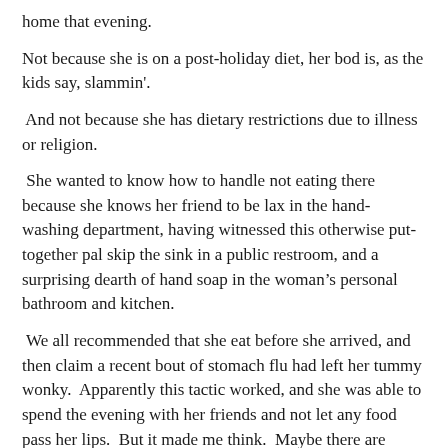home that evening.
Not because she is on a post-holiday diet, her bod is, as the kids say, slammin'.
And not because she has dietary restrictions due to illness or religion.
She wanted to know how to handle not eating there because she knows her friend to be lax in the hand-washing department, having witnessed this otherwise put-together pal skip the sink in a public restroom, and a surprising dearth of hand soap in the woman’s personal bathroom and kitchen.
We all recommended that she eat before she arrived, and then claim a recent bout of stomach flu had left her tummy wonky. Apparently this tactic worked, and she was able to spend the evening with her friends and not let any food pass her lips.  But it made me think.  Maybe there are people who just don’t know how to handle food safety in their home, or how to make it clear to their guests that there is nothing to fear in the hummus.